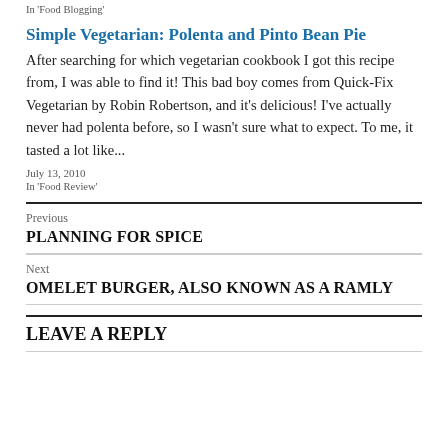In 'Food Blogging'
Simple Vegetarian: Polenta and Pinto Bean Pie
After searching for which vegetarian cookbook I got this recipe from, I was able to find it! This bad boy comes from Quick-Fix Vegetarian by Robin Robertson, and it's delicious! I've actually never had polenta before, so I wasn't sure what to expect. To me, it tasted a lot like...
July 13, 2010
In 'Food Review'
Previous
PLANNING FOR SPICE
Next
OMELET BURGER, ALSO KNOWN AS A RAMLY
LEAVE A REPLY